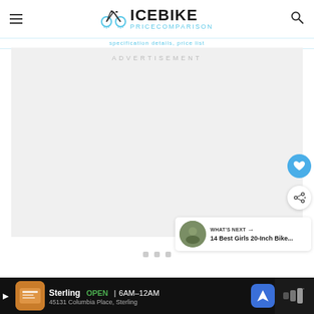ICEBIKE Pricecomparison
ADVERTISEMENT
[Figure (screenshot): Advertisement placeholder area with light gray background and 'ADVERTISEMENT' label. Three carousel dots are visible at the bottom of the ad area.]
[Figure (infographic): WHAT'S NEXT button with '14 Best Girls 20-Inch Bike...' label and thumbnail photo]
Sterling  OPEN  6AM-12AM  45131 Columbia Place, Sterling